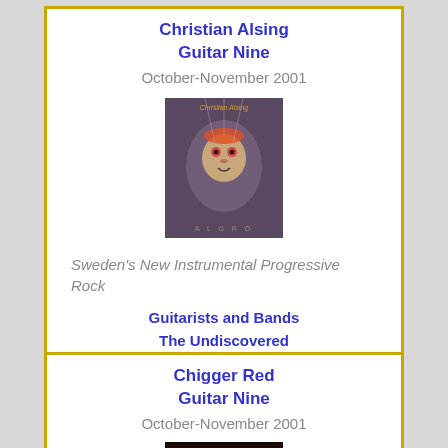Christian Alsing
Guitar Nine
October-November 2001
[Figure (photo): Album cover for Christian Alsing - Allegro, featuring a puppet/marionette face on dark background with text 'Christian Alsing' at top and 'A L G R O' at bottom]
Sweden's New Instrumental Progressive Rock
Guitarists and Bands
The Undiscovered
Chigger Red
Guitar Nine
October-November 2001
[Figure (photo): Album cover for Chigger Red showing band name in red/yellow text on dark background]